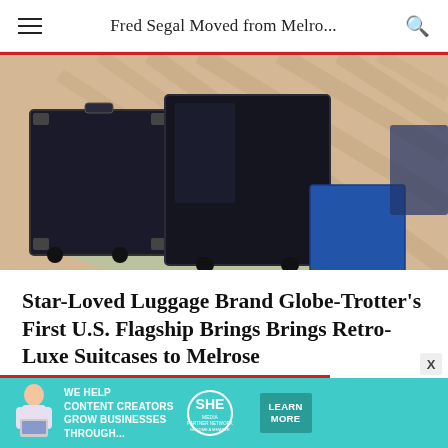Fred Segal Moved from Melro...
[Figure (photo): Display of dark-colored Globe-Trotter luggage cases stacked on a round green rug on a herringbone wood floor]
Star-Loved Luggage Brand Globe-Trotter's First U.S. Flagship Brings Brings Retro-Luxe Suitcases to Melrose
by NINA AGHADJANIAN
[Figure (infographic): SHE Media Partner Network advertisement banner: 'We help content creators grow businesses through...' with Learn More button]